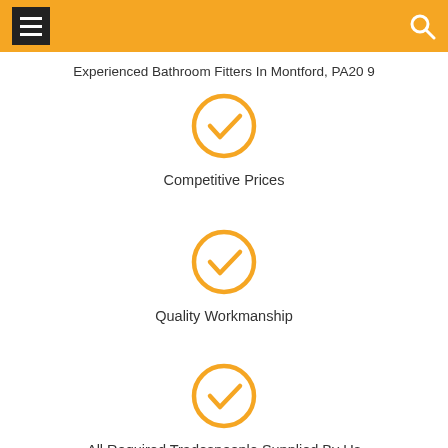Experienced Bathroom Fitters In Montford, PA20 9
[Figure (infographic): Orange circle with checkmark icon]
Competitive Prices
[Figure (infographic): Orange circle with checkmark icon]
Quality Workmanship
[Figure (infographic): Orange circle with checkmark icon]
All Required Tradespeople Supplied By Us